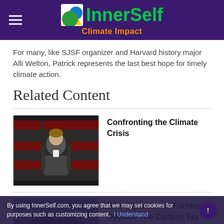InnerSelf Climate Impact
For many, like SJSF organizer and Harvard history major Alli Welton, Patrick represents the last best hope for timely climate action.
Related Content
[Figure (photo): A person seated in a chair at an event with branded backdrop, video thumbnail for 'Confronting the Climate Crisis']
Confronting the Climate Crisis
[Figure (photo): Thumbnail image related to 'Why Agricultural Farmers Oppose The Carbon Tax']
Why Agricultural Farmers Oppose The Carbon Tax
By using InnerSelf.com, you agree that we may set cookies for purposes such as customizing content.  I Understand